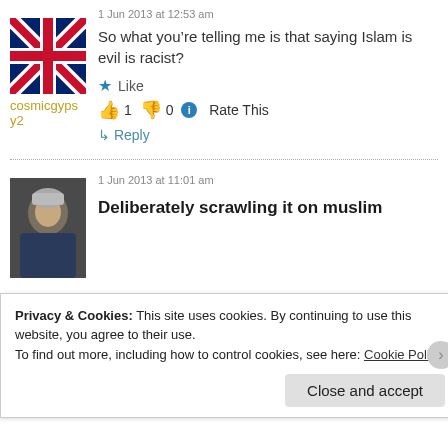1 Jun 2013 at 12:53 am
So what you’re telling me is that saying Islam is evil is racist?
cosmicgypsy2
★ Like
👍 1 👎 0 ⓘ Rate This
↳ Reply
1 Jun 2013 at 11:01 am
Deliberately scrawling it on muslim
Privacy & Cookies: This site uses cookies. By continuing to use this website, you agree to their use. To find out more, including how to control cookies, see here: Cookie Policy
Close and accept